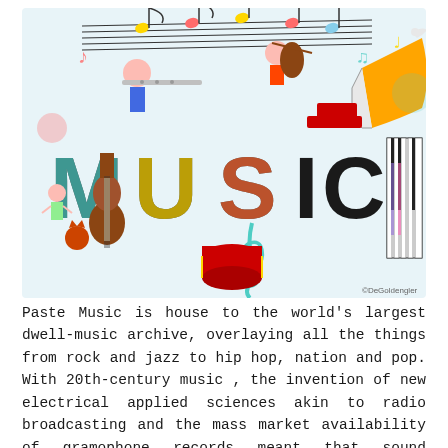[Figure (illustration): Colorful cartoon illustration of various musical instruments and musicians around the word MUSIC in bold letters. Includes guitars, drums, trumpets, flutes, violins, piano keys, musical notes, a gramophone, and cartoon characters playing instruments.]
Paste Music is house to the world's largest dwell-music archive, overlaying all the things from rock and jazz to hip hop, nation and pop. With 20th-century music , the invention of new electrical applied sciences akin to radio broadcasting and the mass market availability of gramophone records meant that sound recordings of songs and items heard by listeners (both on the radio or on their